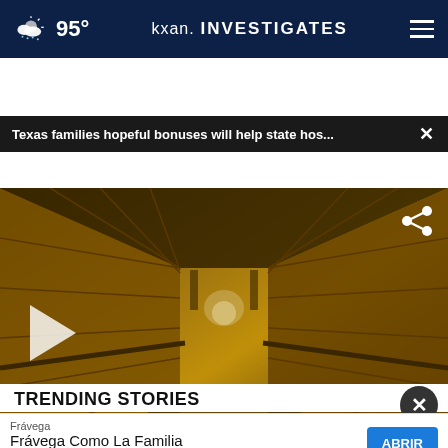95° kxan. INVESTIGATES
Texas families hopeful bonuses will help state hos... ×
[Figure (photo): Corridor of a state hospital with tiled walls and reflective floor, dimly lit]
TRENDING STORIES
1 F...e...
Frávega
Frávega Como La Familia
ABRIR